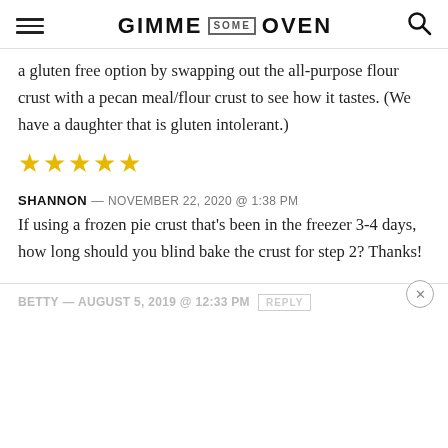GIMME SOME OVEN
a gluten free option by swapping out the all-purpose flour crust with a pecan meal/flour crust to see how it tastes. (We have a daughter that is gluten intolerant.)
[Figure (other): Five gold star rating icons]
SHANNON — NOVEMBER 22, 2020 @ 1:38 PM
If using a frozen pie crust that's been in the freezer 3-4 days, how long should you blind bake the crust for step 2? Thanks!
BETTY — AUGUST 5, 2019 @ 12:33 PM  REPLY